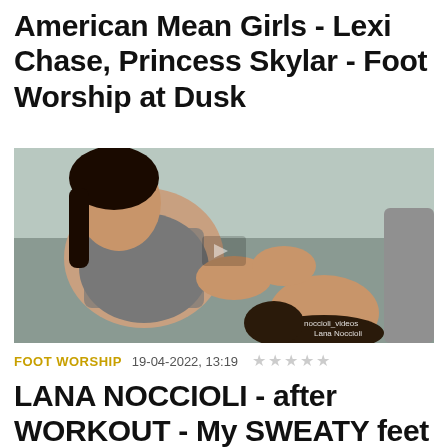American Mean Girls - Lexi Chase, Princess Skylar - Foot Worship at Dusk
[Figure (photo): Two women on a gray couch, one reclining and extending feet toward the other person's face who is lying back; watermark reads 'noccioli_videos Lana Noccioli']
FOOT WORSHIP   19-04-2022, 13:19  ★★★★★
LANA NOCCIOLI - after WORKOUT - My SWEATY feet CLEAN by my